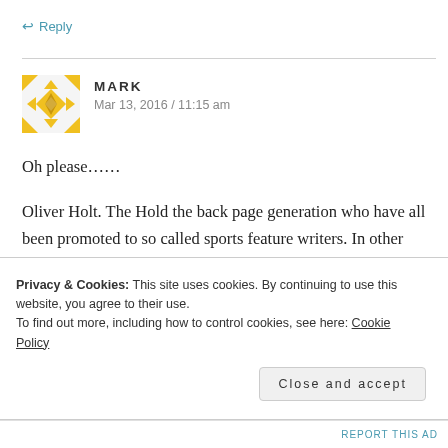↩ Reply
MARK
Mar 13, 2016 / 11:15 am
Oh please......
Oliver Holt. The Hold the back page generation who have all been promoted to so called sports feature writers. In other words, Jack of all trades, masters of none. They no longer have Alex Ferguson arround to
Privacy & Cookies: This site uses cookies. By continuing to use this website, you agree to their use.
To find out more, including how to control cookies, see here: Cookie Policy
Close and accept